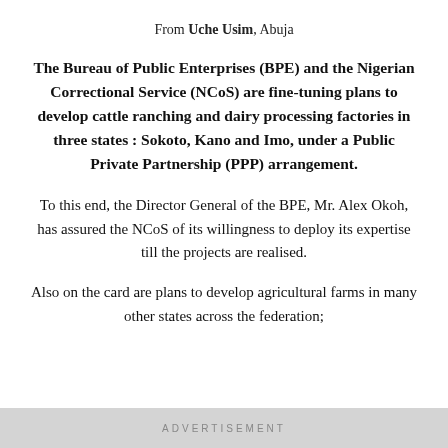From Uche Usim, Abuja
The Bureau of Public Enterprises (BPE) and the Nigerian Correctional Service (NCoS) are fine-tuning plans to develop cattle ranching and dairy processing factories in three states : Sokoto, Kano and Imo, under a Public Private Partnership (PPP) arrangement.
To this end, the Director General of the BPE, Mr. Alex Okoh, has assured the NCoS of its willingness to deploy its expertise till the projects are realised.
Also on the card are plans to develop agricultural farms in many other states across the federation;
ADVERTISEMENT